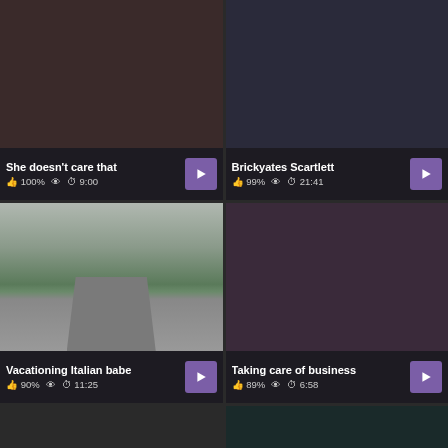[Figure (screenshot): Video thumbnail grid card 1: She doesn't care that, 100%, 9:00]
[Figure (screenshot): Video thumbnail grid card 2: Brickyates Scartlett, 99%, 21:41]
[Figure (screenshot): Video thumbnail grid card 3: Vacationing Italian babe, 90%, 11:25]
[Figure (screenshot): Video thumbnail grid card 4: Taking care of business, 89%, 6:58]
[Figure (screenshot): Video thumbnail grid card 5: partial, bottom left]
[Figure (screenshot): Video thumbnail grid card 6: partial, bottom right]